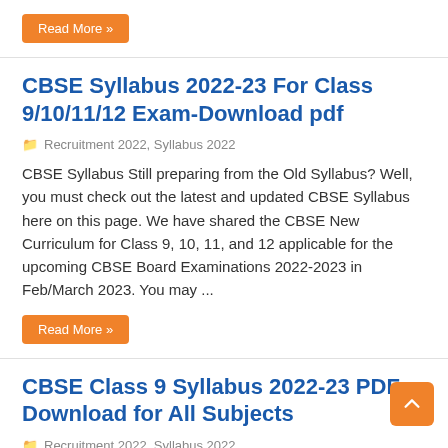Read More »
CBSE Syllabus 2022-23 For Class 9/10/11/12 Exam-Download pdf
Recruitment 2022, Syllabus 2022
CBSE Syllabus Still preparing from the Old Syllabus? Well, you must check out the latest and updated CBSE Syllabus here on this page. We have shared the CBSE New Curriculum for Class 9, 10, 11, and 12 applicable for the upcoming CBSE Board Examinations 2022-2023 in Feb/March 2023. You may ...
Read More »
CBSE Class 9 Syllabus 2022-23 PDF Download for All Subjects
Recruitment 2022, Syllabus 2022